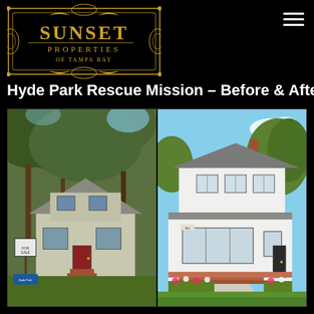[Figure (logo): Sunset Properties of Tampa Bay ornate gold logo with decorative border]
Hyde Park Rescue Mission – Before & After
[Figure (photo): Side-by-side before and after photos of a house renovation. Left (before): older home with overgrown trees, dark red door, weathered siding, for-sale sign. Right (after): fully renovated white modern craftsman home with new siding, large windows, landscaped garden, and brick pathway.]